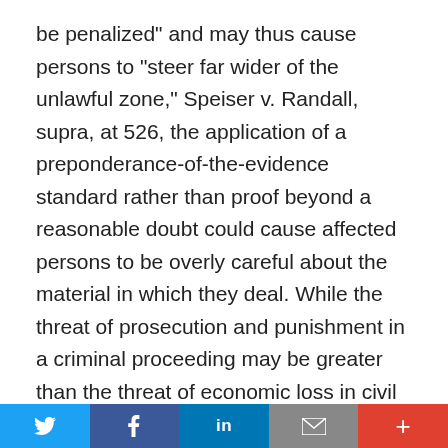be penalized" and may thus cause persons to "steer far wider of the unlawful zone," Speiser v. Randall, supra, at 526, the application of a preponderance-of-the-evidence standard rather than proof beyond a reasonable doubt could cause affected persons to be overly careful about the material in which they deal. While the threat of prosecution and punishment in a criminal proceeding may be greater than the threat of economic loss in civil proceedings, the difference is one of degree. Cf. New York Times Co. v. Sullivan, 376 U.S. 254, 277 -278 (1964). The inevitable tendency of the preponderance-of-the-evidence standard - by forcing persons dealing in marginal material to make hard judgments as to whether such material is obscene in order to avoid civil sanctions - would be to limit the volume of at least the marginal material a bookseller could permissibly handle, and thus "restrict the public's access to forms of the printed word
[Figure (other): Social media sharing bar with Twitter, Facebook, LinkedIn, Email, and Plus buttons]